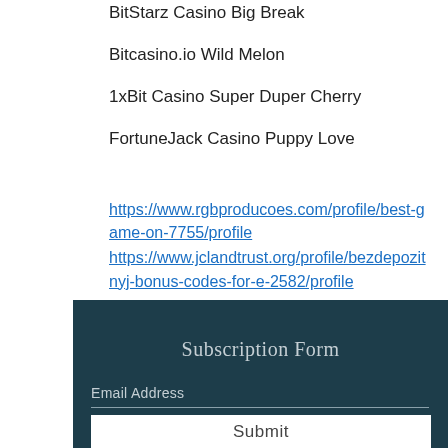BitStarz Casino Big Break
Bitcasino.io Wild Melon
1xBit Casino Super Duper Cherry
FortuneJack Casino Puppy Love
https://www.rgbproducoes.com/profile/best-game-on-7755/profile
https://www.jclandtrust.org/profile/bezdepozitnyj-bonus-codes-for-e-2582/profile
https://allekrypto.pl/forum/profile/bitz825465/
http://rightsgrab.com/community/profile/bitz10742680/
Subscription Form
Email Address
Submit